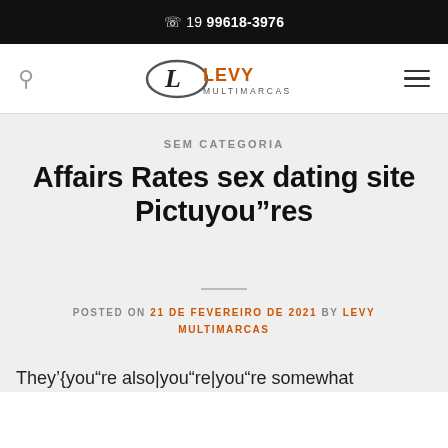☎ 19 99618-3976
[Figure (logo): Levy Multimarcas logo — italic L symbol with LEVY MULTIMARCAS text in orange and black]
SEM CATEGORIA
Affairs Rates sex dating site Pictuyou"res
POSTED ON 21 DE FEVEREIRO DE 2021 BY LEVY MULTIMARCAS
They'{you"re also|you"re|you"re somewhat